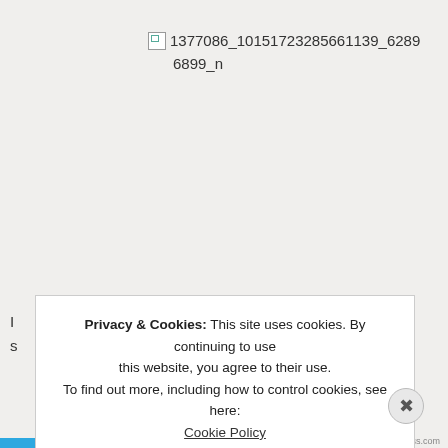[Figure (other): Broken image placeholder with filename text: 1377086_10151723285661139_62896899_n]
Privacy & Cookies: This site uses cookies. By continuing to use this website, you agree to their use. To find out more, including how to control cookies, see here: Cookie Policy
Close and accept